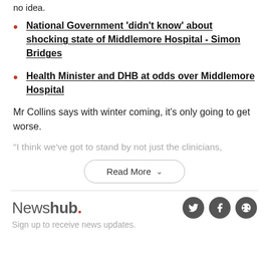no idea.
National Government 'didn't know' about shocking state of Middlemore Hospital - Simon Bridges
Health Minister and DHB at odds over Middlemore Hospital
Mr Collins says with winter coming, it's only going to get worse.
"I think we've got to stand by not just the clinicians,
Read More
Newshub. Sign up to receive news updates.